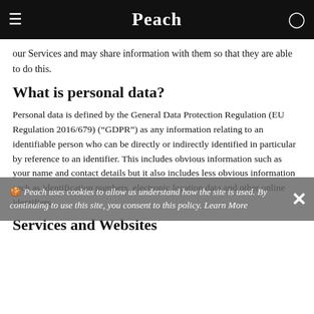Peach
our Services and may share information with them so that they are able to do this.
What is personal data?
Personal data is defined by the General Data Protection Regulation (EU Regulation 2016/679) (“GDPR”) as any information relating to an identifiable person who can be directly or indirectly identified in particular by reference to an identifier. This includes obvious information such as your name and contact details but it also includes less obvious information such as identification numbers, electronic location data and other online identifiers.
🍪 Peach uses cookies to allow us understand how the site is used. By continuing to use this site, you consent to this policy. Learn More
Services and Websites